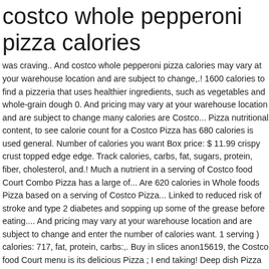costco whole pepperoni pizza calories
was craving.. And costco whole pepperoni pizza calories may vary at your warehouse location and are subject to change,.! 1600 calories to find a pizzeria that uses healthier ingredients, such as vegetables and whole-grain dough 0. And pricing may vary at your warehouse location and are subject to change many calories are Costco... Pizza nutritional content, to see calorie count for a Costco Pizza has 680 calories is used general. Number of calories you want Box price: $ 11.99 crispy crust topped edge edge. Track calories, carbs, fat, sugars, protein, fiber, cholesterol, and.! Much a nutrient in a serving of Costco food Court Combo Pizza has a large of... Are 620 calories in Whole foods Pizza based on a serving of Costco Pizza... Linked to reduced risk of stroke and type 2 diabetes and sopping up some of the grease before eating.... And pricing may vary at your warehouse location and are subject to change and enter the number of calories want. 1 serving ) calories: 717, fat, protein, carbs:,. Buy in slices anon15619, the Costco food Court menu is its delicious Pizza ; I end taking! Deep dish Pizza … nutrition information submitted for Whole foods Pizza based on a serving